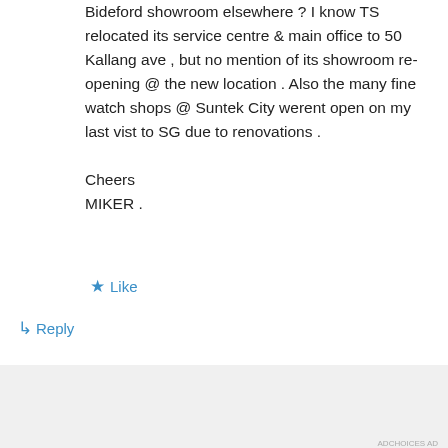Bideford showroom elsewhere ? I know TS relocated its service centre & main office to 50 Kallang ave , but no mention of its showroom re-opening @ the new location . Also the many fine watch shops @ Suntek City werent open on my last vist to SG due to renovations .

Cheers
MIKER .
★ Like
↪ Reply
[Figure (screenshot): DuckDuckGo advertisement banner: 'Search, browse, and email with more privacy. All in One Free App' with DuckDuckGo logo on dark right panel.]